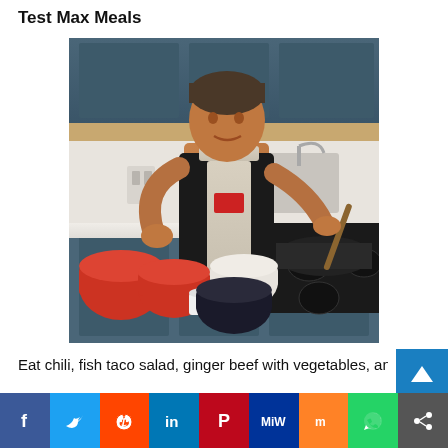Test Max Meals
[Figure (photo): A muscular man wearing a white apron and black t-shirt cooking in a modern kitchen, stirring food in a skillet on a gas stove, with bowls of ingredients on the counter in front of him.]
Eat chili, fish taco salad, ginger beef with vegetables, and
[Figure (infographic): Social media share bar with icons for Facebook, Twitter, Reddit, LinkedIn, Pinterest, MeWe, Mix, WhatsApp, and a share icon.]